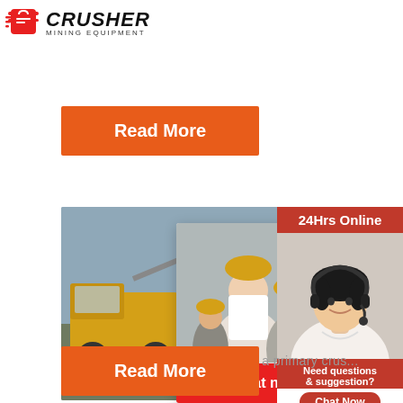[Figure (logo): Crusher Mining Equipment logo with shopping bag icon and bold italic CRUSHER text]
Read More
[Figure (photo): Mining equipment scene with workers in yellow hard hats and industrial machinery]
[Figure (infographic): Live chat popup overlay with workers photo, LIVE CHAT text, Click for a Free Consultation, Chat now and Chat later buttons]
[Figure (photo): Right sidebar with 24Hrs Online header, customer service woman with headset, Need questions & suggestion, Chat Now button, Enquiry, limingjlmofen@sina.com]
1. Mobile Jaw Crusher is used as a primary crus...
Read More